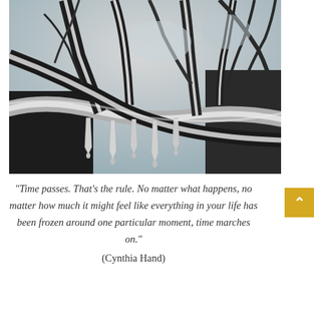[Figure (photo): Black and white photograph of ice-covered tree branches with icicles hanging down, taken from below looking up against a bright sky.]
"Time passes. That's the rule. No matter what happens, no matter how much it might feel like everything in your life has been frozen around one particular moment, time marches on."
(Cynthia Hand)